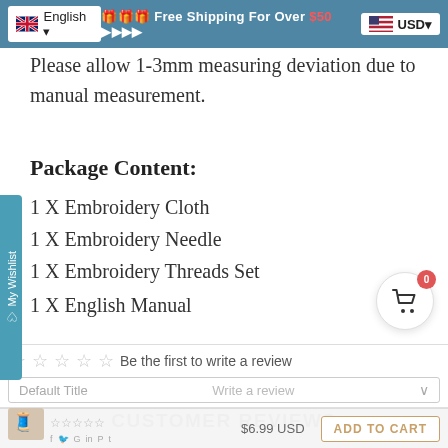🇬🇧 English ▾   🎁🎁🎁 Free Shipping For Over $50 ▶▶▶▶   🇺🇸 USD▾
Please allow 1-3mm measuring deviation due to manual measurement.
Package Content:
1 X Embroidery Cloth
1 X Embroidery Needle
1 X Embroidery Threads Set
1 X English Manual
SHARE   TWEET   PIN IT
CUSTOMER REVIEWS
☆☆☆☆☆ Be the first to write a review
Default Title   Write a review